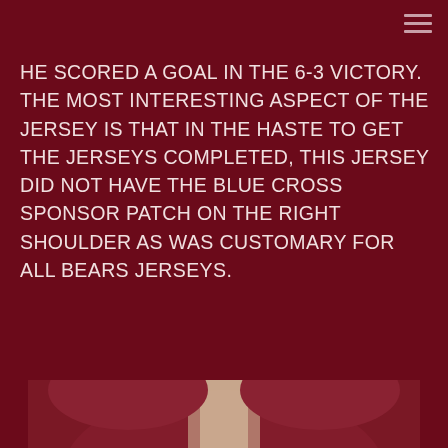HE SCORED A GOAL IN THE 6-3 VICTORY. THE MOST INTERESTING ASPECT OF THE JERSEY IS THAT IN THE HASTE TO GET THE JERSEYS COMPLETED, THIS JERSEY DID NOT HAVE THE BLUE CROSS SPONSOR PATCH ON THE RIGHT SHOULDER AS WAS CUSTOMARY FOR ALL BEARS JERSEYS.
[Figure (photo): Partial photo of hockey jerseys visible at the bottom of the page, showing what appears to be maroon/red jerseys worn by players]